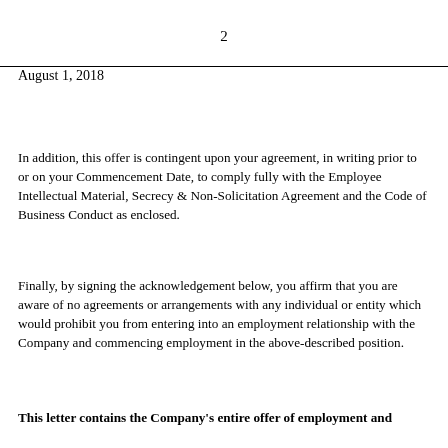2
August 1, 2018
In addition, this offer is contingent upon your agreement, in writing prior to or on your Commencement Date, to comply fully with the Employee Intellectual Material, Secrecy & Non-Solicitation Agreement and the Code of Business Conduct as enclosed.
Finally, by signing the acknowledgement below, you affirm that you are aware of no agreements or arrangements with any individual or entity which would prohibit you from entering into an employment relationship with the Company and commencing employment in the above-described position.
This letter contains the Company's entire offer of employment and